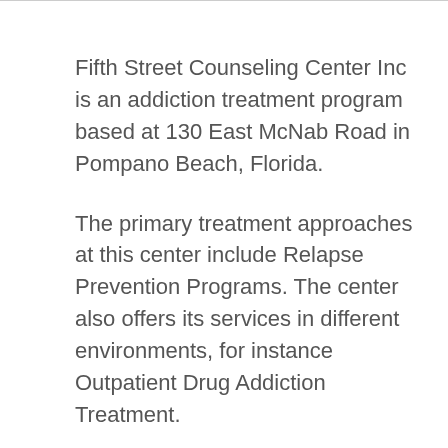Fifth Street Counseling Center Inc is an addiction treatment program based at 130 East McNab Road in Pompano Beach, Florida.
The primary treatment approaches at this center include Relapse Prevention Programs. The center also offers its services in different environments, for instance Outpatient Drug Addiction Treatment.
Fifth Street Counseling Center Inc also offers various programs that are customized to meet the needs of specific individuals such as: Substance Abuse Assessment, Mental Health Treatment, Drug and Alcohol Abuse